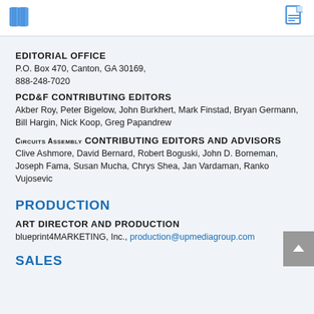[book icon] [document icon]
EDITORIAL OFFICE
P.O. Box 470, Canton, GA 30169, 888-248-7020
PCD&F CONTRIBUTING EDITORS
Akber Roy, Peter Bigelow, John Burkhert, Mark Finstad, Bryan Germann, Bill Hargin, Nick Koop, Greg Papandrew
Circuits Assembly CONTRIBUTING EDITORS AND ADVISORS
Clive Ashmore, David Bernard, Robert Boguski, John D. Borneman, Joseph Fama, Susan Mucha, Chrys Shea, Jan Vardaman, Ranko Vujosevic
PRODUCTION
ART DIRECTOR AND PRODUCTION
blueprint4MARKETING, Inc., production@upmediagroup.com
SALES